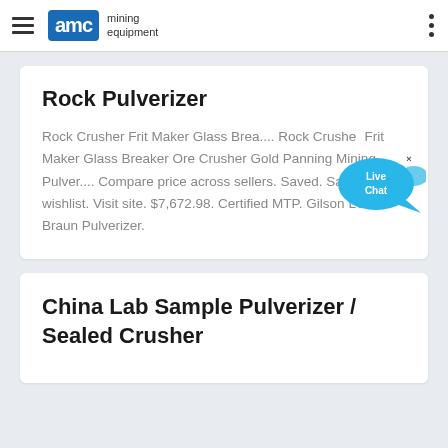AMC mining equipment
Rock Pulverizer
Rock Crusher Frit Maker Glass Brea.... Rock Crusher Frit Maker Glass Breaker Ore Crusher Gold Panning Mining Pulver.... Compare price across sellers. Saved. Save to wishlist. Visit site. $7,672.98. Certified MTP. Gilson LC-53 Braun Pulverizer.
China Lab Sample Pulverizer / Sealed Crusher